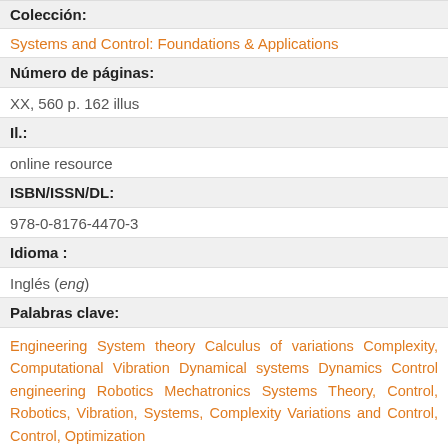Colección:
Systems and Control: Foundations & Applications
Número de páginas:
XX, 560 p. 162 illus
Il.:
online resource
ISBN/ISSN/DL:
978-0-8176-4470-3
Idioma :
Inglés (eng)
Palabras clave:
Engineering System theory Calculus of variations Complexity, Computational Vibration Dynamical systems Dynamics Control engineering Robotics Mechatronics Systems Theory, Control, Robotics, Vibration, Systems, Complexity Variations and Control, Control, Optimization